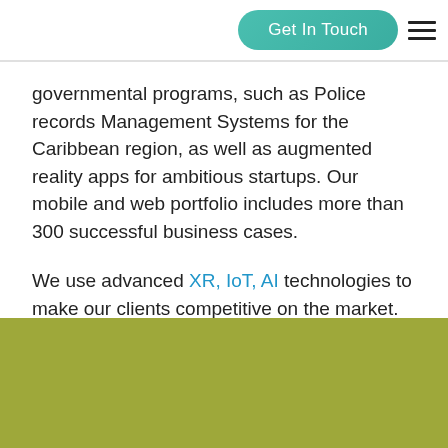Get In Touch
governmental programs, such as Police records Management Systems for the Caribbean region, as well as augmented reality apps for ambitious startups. Our mobile and web portfolio includes more than 300 successful business cases.
We use advanced XR, IoT, AI technologies to make our clients competitive on the market.